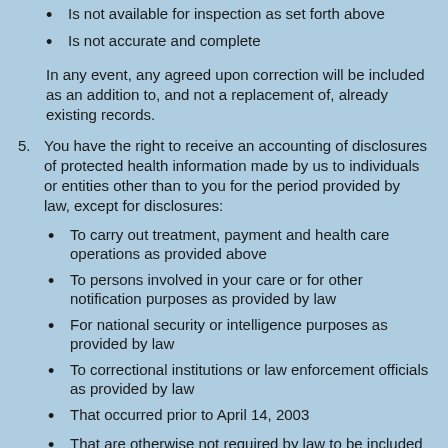Is not available for inspection as set forth above
Is not accurate and complete
In any event, any agreed upon correction will be included as an addition to, and not a replacement of, already existing records.
5. You have the right to receive an accounting of disclosures of protected health information made by us to individuals or entities other than to you for the period provided by law, except for disclosures:
To carry out treatment, payment and health care operations as provided above
To persons involved in your care or for other notification purposes as provided by law
For national security or intelligence purposes as provided by law
To correctional institutions or law enforcement officials as provided by law
That occurred prior to April 14, 2003
That are otherwise not required by law to be included in the accounting